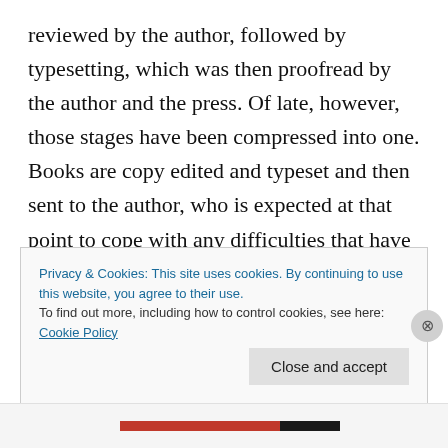reviewed by the author, followed by typesetting, which was then proofread by the author and the press. Of late, however, those stages have been compressed into one. Books are copy edited and typeset and then sent to the author, who is expected at that point to cope with any difficulties that have arisen in either the copy editing or the typesetting stage. The scholar quoted in the previous paragraph blamed the “train wreck” on this compression of stages. As for proof reading, that same scholar was frankly perplexed by the question, having seen no sign of any proofreading. This, too, was how the other author
Privacy & Cookies: This site uses cookies. By continuing to use this website, you agree to their use.
To find out more, including how to control cookies, see here: Cookie Policy